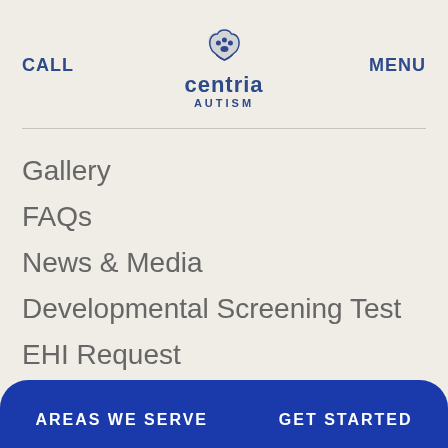CALL  centria AUTISM  MENU
Gallery
FAQs
News & Media
Developmental Screening Test
EHI Request
Corporate Compliance
AREAS WE SERVE  GET STARTED